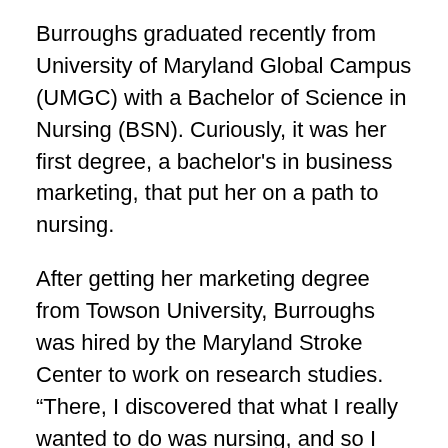Burroughs graduated recently from University of Maryland Global Campus (UMGC) with a Bachelor of Science in Nursing (BSN). Curiously, it was her first degree, a bachelor's in business marketing, that put her on a path to nursing.
After getting her marketing degree from Towson University, Burroughs was hired by the Maryland Stroke Center to work on research studies. “There, I discovered that what I really wanted to do was nursing, and so I went back and got my associate degree in nursing,” she said.
While studying, Burroughs obtained a student nurse position at a busy Baltimore hospital emergency room. She stayed on as a nurse in the ER, where she has now worked for six years. In 2020, a scholarship through the hospital allowed her to